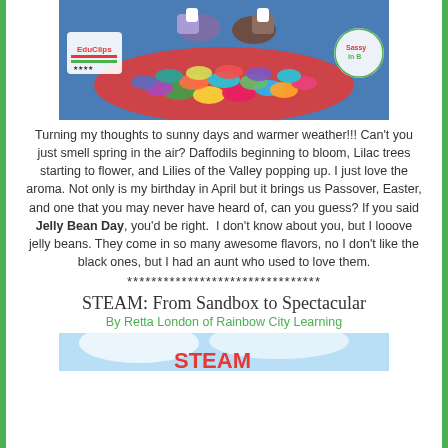[Figure (illustration): Banner image showing colorful jelly beans with cartoon characters' feet and shoes at top, EduClips logo on left, and another logo on right, on a blue background]
Turning my thoughts to sunny days and warmer weather!!! Can't you just smell spring in the air? Daffodils beginning to bloom, Lilac trees starting to flower, and Lilies of the Valley popping up. I just love the aroma. Not only is my birthday in April but it brings us Passover, Easter, and one that you may never have heard of, can you guess? If you said Jelly Bean Day, you'd be right.  I don't know about you, but I looove jelly beans. They come in so many awesome flavors, no I don't like the black ones, but I had an aunt who used to love them.
********************************
STEAM: From Sandbox to Spectacular
By Retta London of Rainbow City Learning
[Figure (illustration): Bottom banner with blue sky/clouds background and red STEAM text partially visible]